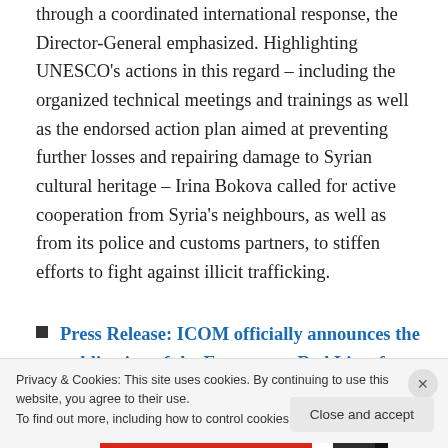through a coordinated international response, the Director-General emphasized. Highlighting UNESCO's actions in this regard – including the organized technical meetings and trainings as well as the endorsed action plan aimed at preventing further losses and repairing damage to Syrian cultural heritage – Irina Bokova called for active cooperation from Syria's neighbours, as well as from its police and customs partners, to stiffen efforts to fight against illicit trafficking.
Press Release: ICOM officially announces the publication of the Emergency Red List of Syrian
Privacy & Cookies: This site uses cookies. By continuing to use this website, you agree to their use.
To find out more, including how to control cookies, see here: Cookie Policy